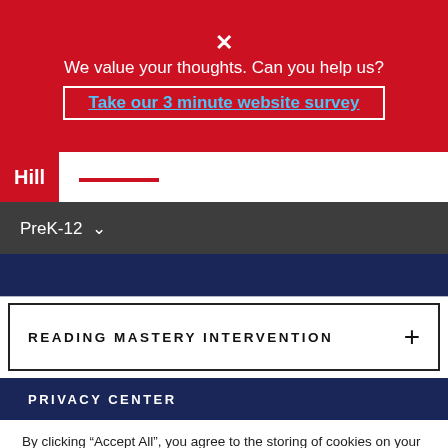× We value your thoughts. Can you help us? Take our 3 minute website survey
Hill
PreK-12
READING MASTERY INTERVENTION
PRIVACY CENTER
By clicking “Accept All”, you agree to the storing of cookies on your device to enhance site navigation, analyze site usage, and assist in our marketing efforts.
Cookies Settings
Accept All